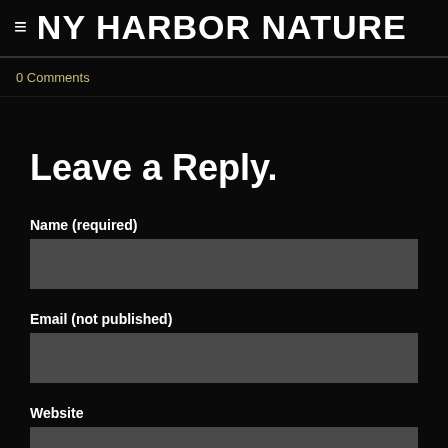NY HARBOR NATURE
0 Comments
Leave a Reply.
Name (required)
Email (not published)
Website